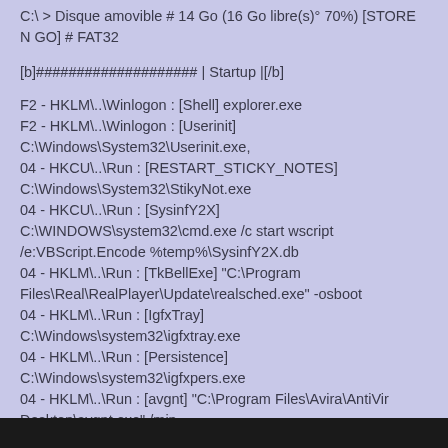C:\ > Disque amovible # 14 Go (16 Go libre(s)° 70%) [STORE N GO] # FAT32
[b]#################### | Startup |[/b]
F2 - HKLM\..\Winlogon : [Shell] explorer.exe
F2 - HKLM\..\Winlogon : [Userinit] C:\Windows\System32\Userinit.exe,
04 - HKCU\..\Run : [RESTART_STICKY_NOTES] C:\Windows\System32\StikyNot.exe
04 - HKCU\..\Run : [SysinfY2X] C:\WINDOWS\system32\cmd.exe /c start wscript /e:VBScript.Encode %temp%\SysinfY2X.db
04 - HKLM\..\Run : [TkBellExe] "C:\Program Files\Real\RealPlayer\Update\realsched.exe" -osboot
04 - HKLM\..\Run : [IgfxTray] C:\Windows\system32\igfxtray.exe
04 - HKLM\..\Run : [Persistence] C:\Windows\system32\igfxpers.exe
04 - HKLM\..\Run : [avgnt] "C:\Program Files\Avira\AntiVir Desktop\avgnt.exe" /min
04 - HKLM\..\Run : [Avira.SystrayStartTrigger] "C:\Program